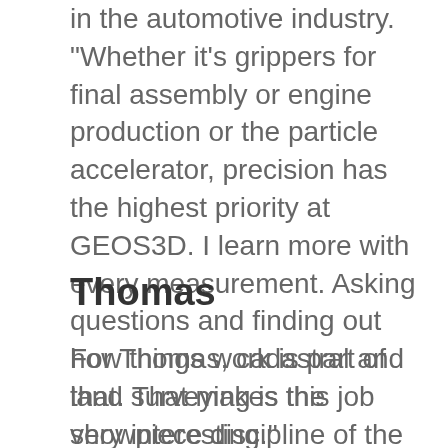in the automotive industry. "Whether it's grippers for final assembly or engine production or the particle accelerator, precision has the highest priority at GEOS3D. I learn more with every measurement. Asking questions and finding out how things work is part of that. That makes this job very interesting."
Thomas
For Thomas, cadastral and land surveying is the showpiece discipline of the surveyor. "Even though my colleagues in industrial surveying find their job much more exciting. I like to calmly demonstrate the limits and heights on